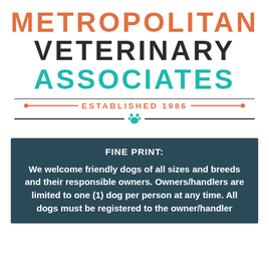[Figure (logo): Metropolitan Veterinary Associates logo with three-line stacked text: METROPOLITAN in orange, VETERINARY in dark/black, ASSOCIATES in teal/cyan. Below is a horizontal rule, then ESTABLISHED 1986 in orange with decorative lines and arrow ends, then another horizontal rule with a teal paw print icon in the center.]
FINE PRINT:

We welcome friendly dogs of all sizes and breeds and their responsible owners. Owners/handlers are limited to one (1) dog per person at any time. All dogs must be registered to the owner/handler